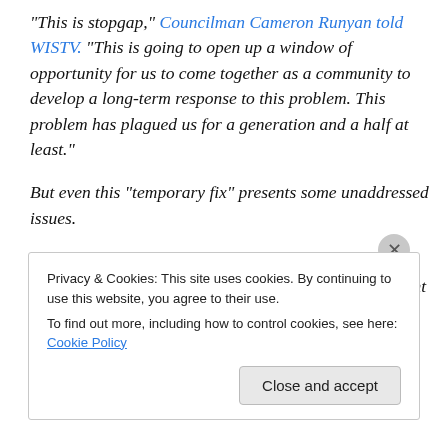"This is stopgap," Councilman Cameron Runyan told WISTV. "This is going to open up a window of opportunity for us to come together as a community to develop a long-term response to this problem. This problem has plagued us for a generation and a half at least."
But even this “temporary fix” presents some unaddressed issues.
For one, there are an estimated 1,621 homeless people living in Columbia and the surrounding area, 25 percent of
Privacy & Cookies: This site uses cookies. By continuing to use this website, you agree to their use.
To find out more, including how to control cookies, see here: Cookie Policy